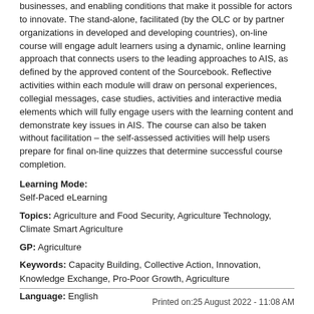businesses, and enabling conditions that make it possible for actors to innovate. The stand-alone, facilitated (by the OLC or by partner organizations in developed and developing countries), on-line course will engage adult learners using a dynamic, online learning approach that connects users to the leading approaches to AIS, as defined by the approved content of the Sourcebook. Reflective activities within each module will draw on personal experiences, collegial messages, case studies, activities and interactive media elements which will fully engage users with the learning content and demonstrate key issues in AIS. The course can also be taken without facilitation – the self-assessed activities will help users prepare for final on-line quizzes that determine successful course completion.
Learning Mode: Self-Paced eLearning
Topics: Agriculture and Food Security, Agriculture Technology, Climate Smart Agriculture
GP: Agriculture
Keywords: Capacity Building, Collective Action, Innovation, Knowledge Exchange, Pro-Poor Growth, Agriculture
Language: English
Printed on:25 August 2022 - 11:08 AM